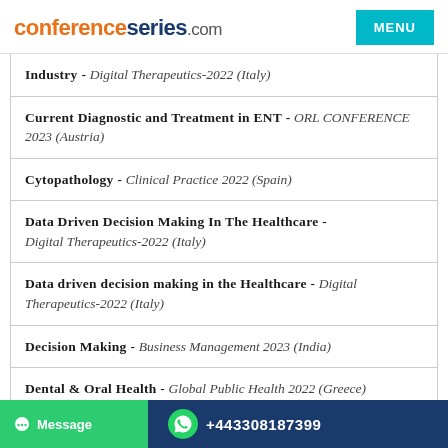conferenceseries.com
Industry - Digital Therapeutics-2022 (Italy)
Current Diagnostic and Treatment in ENT - ORL CONFERENCE 2023 (Austria)
Cytopathology - Clinical Practice 2022 (Spain)
Data Driven Decision Making In The Healthcare - Digital Therapeutics-2022 (Italy)
Data driven decision making in the Healthcare - Digital Therapeutics-2022 (Italy)
Decision Making - Business Management 2023 (India)
Dental & Oral Health - Global Public Health 2022 (Greece)
Message  +443308187399